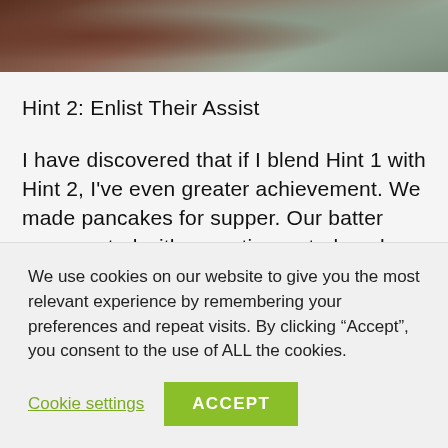[Figure (photo): Partial photo showing two people, cropped at the top of the page. Left side shows warm brown tones, right side shows a person in a grey-green top.]
Hint 2: Enlist Their Assist
I have discovered that if I blend Hint 1 with Hint 2, I've even greater achievement. We made pancakes for supper. Our batter was created with an entire grated apple and ricotta cheese. Though I used frequent pancake mix, I will soon try this using oat flour or whole-
We use cookies on our website to give you the most relevant experience by remembering your preferences and repeat visits. By clicking “Accept”, you consent to the use of ALL the cookies.
Cookie settings
ACCEPT